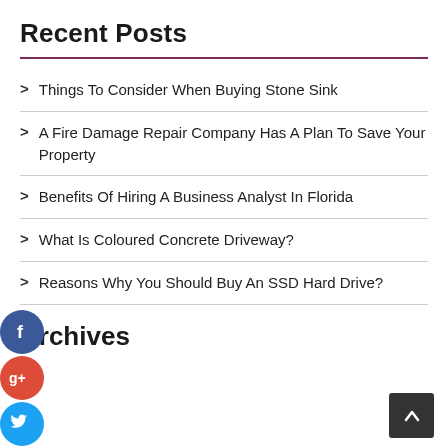Recent Posts
Things To Consider When Buying Stone Sink
A Fire Damage Repair Company Has A Plan To Save Your Property
Benefits Of Hiring A Business Analyst In Florida
What Is Coloured Concrete Driveway?
Reasons Why You Should Buy An SSD Hard Drive?
Archives